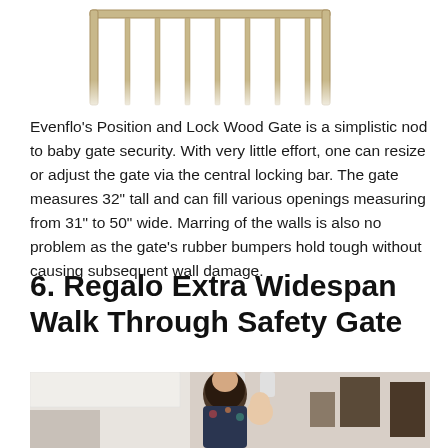[Figure (photo): Partial top view of a wood baby gate product (beige/tan frame) on white background]
Evenflo's Position and Lock Wood Gate is a simplistic nod to baby gate security. With very little effort, one can resize or adjust the gate via the central locking bar. The gate measures 32" tall and can fill various openings measuring from 31" to 50" wide. Marring of the walls is also no problem as the gate's rubber bumpers hold tough without causing subsequent wall damage.
6. Regalo Extra Widespan Walk Through Safety Gate
[Figure (photo): A woman with dark hair holding a baby in a kitchen setting. White cabinets and appliances visible in background.]